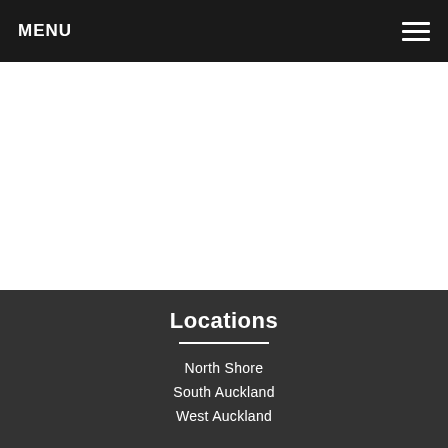MENU
Locations
North Shore
South Auckland
West Auckland